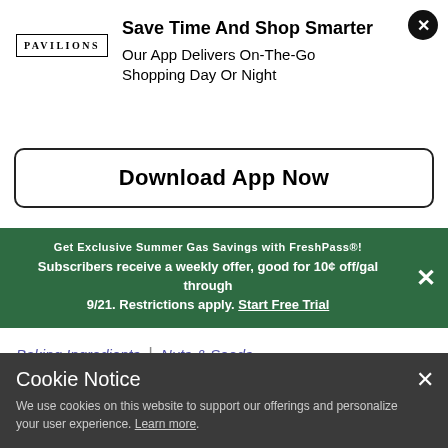[Figure (logo): Pavilions brand logo text in serif uppercase lettering with border]
Save Time And Shop Smarter
Our App Delivers On-The-Go Shopping Day Or Night
Download App Now
Get Exclusive Summer Gas Savings with FreshPass®! Subscribers receive a weekly offer, good for 10¢ off/gal through 9/21. Restrictions apply. Start Free Trial
Baking Ingredients | Nuts & Seeds
Cookie Notice
We use cookies on this website to support our offerings and personalize your user experience. Learn more.